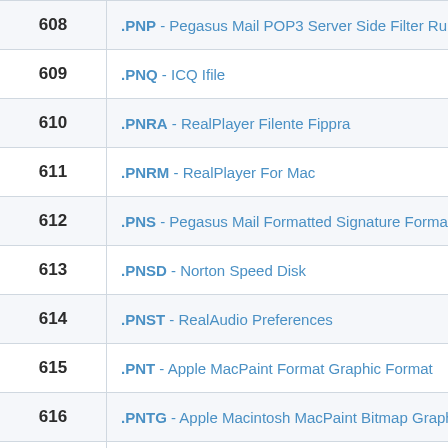| # | Extension / Description |
| --- | --- |
| 608 | .PNP - Pegasus Mail POP3 Server Side Filter Rule |
| 609 | .PNQ - ICQ Ifile |
| 610 | .PNRA - RealPlayer Filente Fippra |
| 611 | .PNRM - RealPlayer For Mac |
| 612 | .PNS - Pegasus Mail Formatted Signature Format |
| 613 | .PNSD - Norton Speed Disk |
| 614 | .PNST - RealAudio Preferences |
| 615 | .PNT - Apple MacPaint Format Graphic Format |
| 616 | .PNTG - Apple Macintosh MacPaint Bitmap Graphi |
| 617 | .PNUE - Norton UnErase |
| 618 | .PNV - Pegasus Mail Stored Searches |